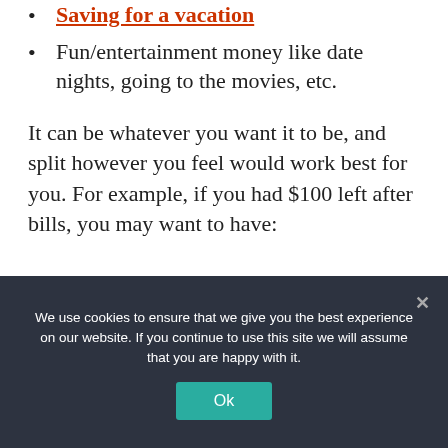Saving for a vacation
Fun/entertainment money like date nights, going to the movies, etc.
It can be whatever you want it to be, and split however you feel would work best for you. For example, if you had $100 left after bills, you may want to have:
We use cookies to ensure that we give you the best experience on our website. If you continue to use this site we will assume that you are happy with it.